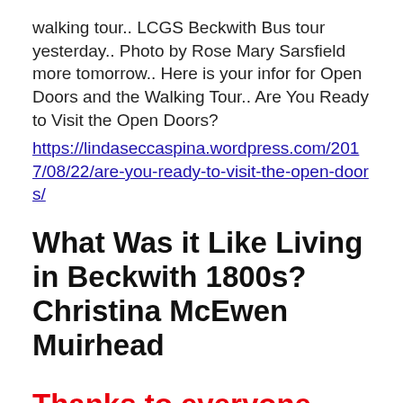walking tour.. LCGS Beckwith Bus tour yesterday.. Photo by Rose Mary Sarsfield more tomorrow.. Here is your infor for Open Doors and the Walking Tour.. Are You Ready to Visit the Open Doors?
https://lindaseccaspina.wordpress.com/2017/08/22/are-you-ready-to-visit-the-open-doors/
What Was it Like Living in Beckwith 1800s? Christina McEwen Muirhead
Thanks to everyone that came out